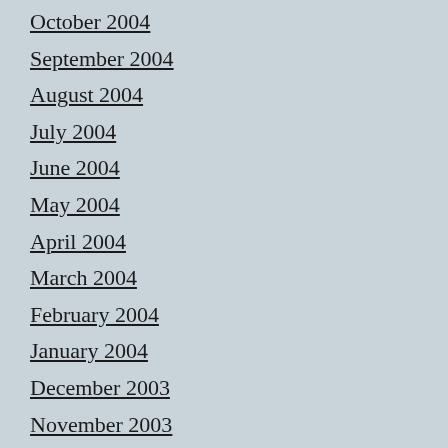October 2004
September 2004
August 2004
July 2004
June 2004
May 2004
April 2004
March 2004
February 2004
January 2004
December 2003
November 2003
October 2003
September 2003